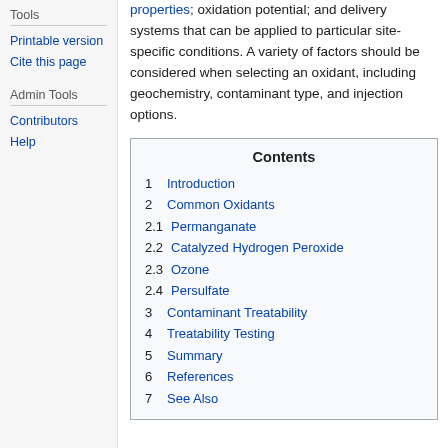Tools
Printable version
Cite this page
Admin Tools
Contributors
Help
properties; oxidation potential; and delivery systems that can be applied to particular site-specific conditions. A variety of factors should be considered when selecting an oxidant, including geochemistry, contaminant type, and injection options.
| Contents |
| --- |
| 1  Introduction |
| 2  Common Oxidants |
| 2.1  Permanganate |
| 2.2  Catalyzed Hydrogen Peroxide |
| 2.3  Ozone |
| 2.4  Persulfate |
| 3  Contaminant Treatability |
| 4  Treatability Testing |
| 5  Summary |
| 6  References |
| 7  See Also |